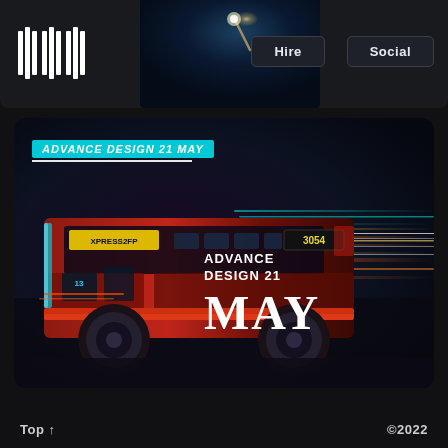[Figure (screenshot): Navigation bar with stylized logo (vertical striped bars), a dark hero image area with underwater/torch scene, and two buttons labeled Hire and Social]
[Figure (screenshot): Dark card featuring a motion-blurred city bus (numbered 3054) with colorful light streaks. Overlaid text: ADVANCE DESIGN 21 MAY tag at top, and ADVANCE DESIGN 21 MAY large text in center. Cyan, orange, and white light trails visible.]
Top ↑   ©2022